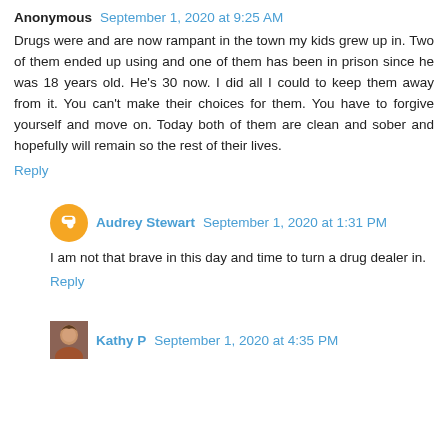Anonymous  September 1, 2020 at 9:25 AM
Drugs were and are now rampant in the town my kids grew up in. Two of them ended up using and one of them has been in prison since he was 18 years old. He's 30 now. I did all I could to keep them away from it. You can't make their choices for them. You have to forgive yourself and move on. Today both of them are clean and sober and hopefully will remain so the rest of their lives.
Reply
Audrey Stewart  September 1, 2020 at 1:31 PM
I am not that brave in this day and time to turn a drug dealer in.
Reply
Kathy P  September 1, 2020 at 4:35 PM